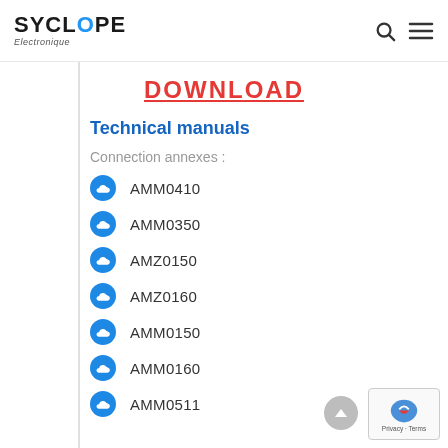SYCLOPE Electronique
DOWNLOAD
Technical manuals
Connection annexes :
AMM0410
AMM0350
AMZ0150
AMZ0160
AMM0150
AMM0160
AMM0511